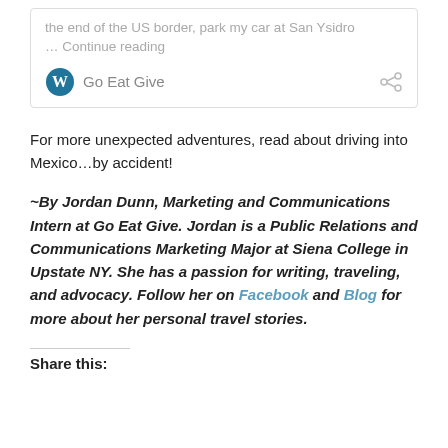[Figure (screenshot): A card widget showing a WordPress blog preview with 'Go Eat Give' branding. Shows truncated text 'the end of the US border, park my car at San Ysidro … Continue reading', a WordPress logo, the text 'Go Eat Give', and a share icon.]
For more unexpected adventures, read about driving into Mexico…by accident!
~By Jordan Dunn, Marketing and Communications Intern at Go Eat Give. Jordan is a Public Relations and Communications Marketing Major at Siena College in Upstate NY. She has a passion for writing, traveling, and advocacy. Follow her on Facebook and Blog for more about her personal travel stories.
Share this: